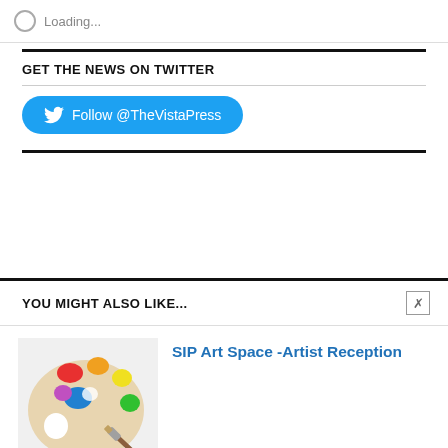Loading...
GET THE NEWS ON TWITTER
Follow @TheVistaPress
YOU MIGHT ALSO LIKE...
SIP Art Space -Artist Reception
[Figure (photo): Artist palette with colorful paint and brushes]